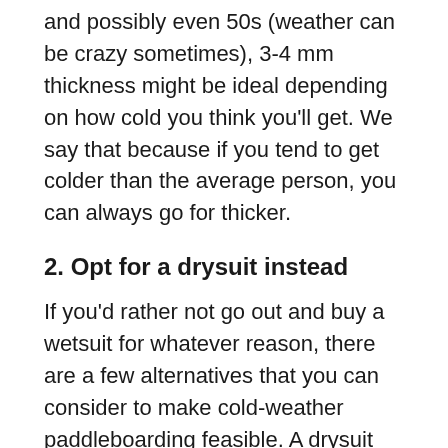and possibly even 50s (weather can be crazy sometimes), 3-4 mm thickness might be ideal depending on how cold you think you'll get. We say that because if you tend to get colder than the average person, you can always go for thicker.
2. Opt for a drysuit instead
If you'd rather not go out and buy a wetsuit for whatever reason, there are a few alternatives that you can consider to make cold-weather paddleboarding feasible. A drysuit being one of the alternatives.
As the name suggests, a drysuit is almost the exact opposite of a wetsuit. A wetsuit is designed